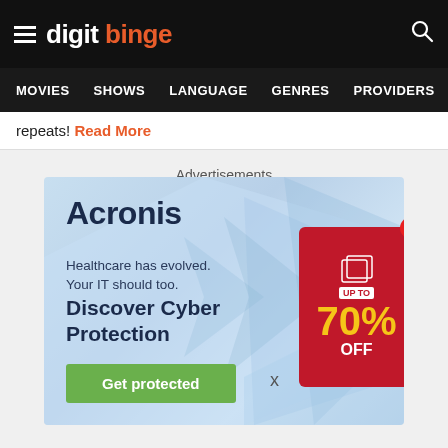digit binge — navigation header with MOVIES, SHOWS, LANGUAGE, GENRES, PROVIDERS, LATE
repeats! Read More
Advertisements
[Figure (illustration): Acronis advertisement banner. Light blue background with geometric shapes. Text: 'Acronis', 'Healthcare has evolved. Your IT should too.', 'Discover Cyber Protection', green button 'Get protected', close X. Overlapping secondary ad showing '70% OFF' on red background.]